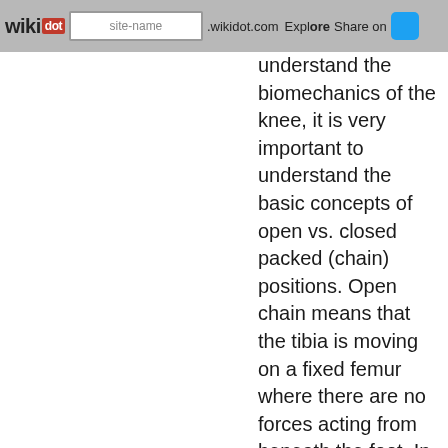wikidot | site-name .wikidot.com | Explore | Share on
understand the biomechanics of the knee, it is very important to understand the basic concepts of open vs. closed packed (chain) positions. Open chain means that the tibia is moving on a fixed femur where there are no forces acting from beneath the foot. In